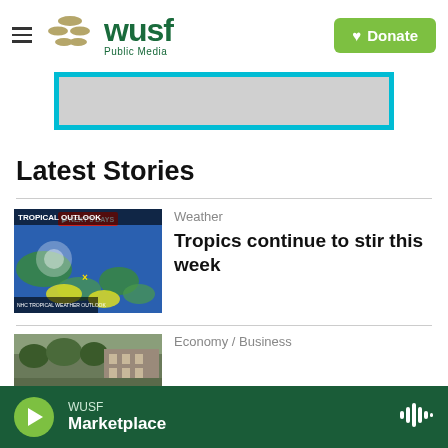WUSF Public Media — Donate
[Figure (other): Advertisement banner with cyan/teal border]
Latest Stories
[Figure (other): Tropical Outlook weather map showing tropical disturbances in the Atlantic]
Weather
Tropics continue to stir this week
[Figure (photo): Building photograph for Economy/Business story]
Economy / Business
WUSF — Marketplace (audio player bar)